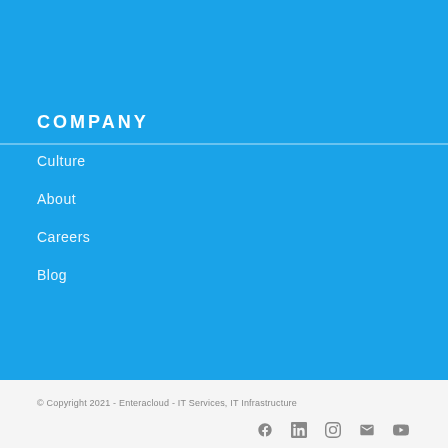COMPANY
Culture
About
Careers
Blog
© Copyright 2021 - Enteracloud - IT Services, IT Infrastructure